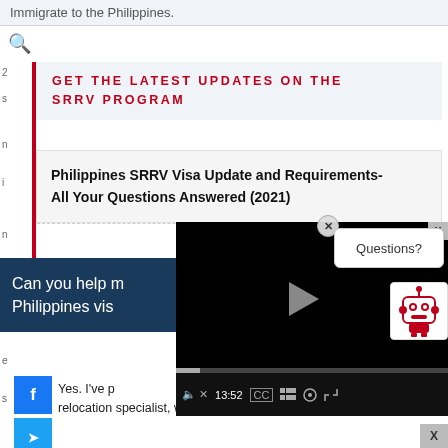Immigrate to the Philippines.
GET THE LATEST UPDATES ON THE SRRV PROGRAM
Philippines SRRV Visa Update and Requirements- All Your Questions Answered (2021)
Can you help me with my Philippines visa...
Yes. I've prepared... relocation specialist, who has been relocating...
[Figure (screenshot): Embedded video player showing a YouTube-style video with play button, progress bar showing 13:52, and video controls including mute, CC, grid, settings, and fullscreen buttons. A chatbot popup with Questions? bubble and robot icon appears overlaid. A close (x) button is visible.]